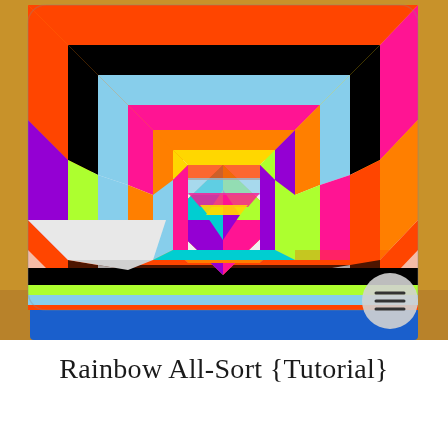[Figure (photo): A colorful quilted throw pillow with a rainbow geometric pattern featuring concentric diamond shapes and triangular sections in multiple bright colors including orange, pink, blue, green, yellow, purple, black, and white. The pillow is sitting on a blue chair with a wooden background.]
Rainbow All-Sort {Tutorial}